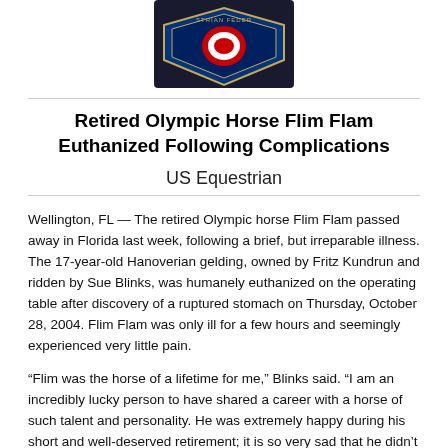[Figure (logo): US Equestrian Federation logo/badge partially visible at top of page]
Retired Olympic Horse Flim Flam Euthanized Following Complications
US Equestrian
Wellington, FL — The retired Olympic horse Flim Flam passed away in Florida last week, following a brief, but irreparable illness. The 17-year-old Hanoverian gelding, owned by Fritz Kundrun and ridden by Sue Blinks, was humanely euthanized on the operating table after discovery of a ruptured stomach on Thursday, October 28, 2004. Flim Flam was only ill for a few hours and seemingly experienced very little pain.
“Flim was the horse of a lifetime for me,” Blinks said. “I am an incredibly lucky person to have shared a career with a horse of such talent and personality. He was extremely happy during his short and well-deserved retirement; it is so very sad that he didn’t get to enjoy it